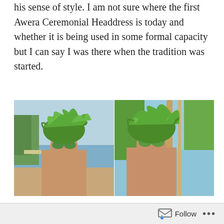his sense of style. I am not sure where the first Awera Ceremonial Headdress is today and whether it is being used in some formal capacity but I can say I was there when the tradition was started.
[Figure (photo): Two side-by-side photos of a man wearing a headdress made of large green tropical leaves, with green sunglasses. Left photo shows a beach/water background; right photo shows a tropical tree background with blue sky.]
And the reason we are at Awera, there is Surfing Fingers, the natural footer from suburban Melbourne who started later than some but is still charging. Our paths first crossed around Wonthaggi, Victoria sometime in 1982 and my life has never been the same since.   Thanks Fingers for adding colour to my life and it is time to start
Follow ···